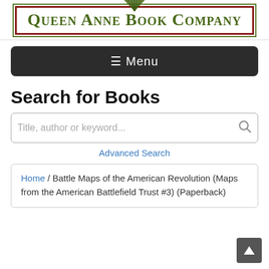[Figure (logo): Queen Anne Book Company logo with green text in small-caps serif font, red and green border, and a decorative fan/shell graphic above]
≡ Menu
Search for Books
Title, author or keyword...
Advanced Search
Home / Battle Maps of the American Revolution (Maps from the American Battlefield Trust #3) (Paperback)